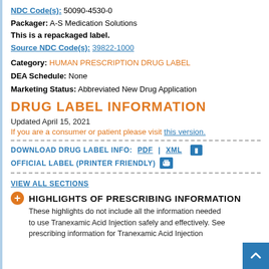NDC Code(s): 50090-4530-0
Packager: A-S Medication Solutions
This is a repackaged label.
Source NDC Code(s): 39822-1000
Category: HUMAN PRESCRIPTION DRUG LABEL
DEA Schedule: None
Marketing Status: Abbreviated New Drug Application
DRUG LABEL INFORMATION
Updated April 15, 2021
If you are a consumer or patient please visit this version.
DOWNLOAD DRUG LABEL INFO: PDF | XML
OFFICIAL LABEL (PRINTER FRIENDLY)
VIEW ALL SECTIONS
HIGHLIGHTS OF PRESCRIBING INFORMATION
These highlights do not include all the information needed to use Tranexamic Acid Injection safely and effectively. See prescribing information for Tranexamic Acid Injection